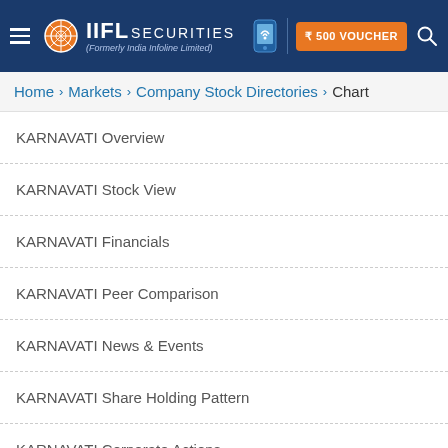IIFL Securities (Formerly India Infoline Limited) | ₹500 VOUCHER
Home > Markets > Company Stock Directories > Chart
KARNAVATI Overview
KARNAVATI Stock View
KARNAVATI Financials
KARNAVATI Peer Comparison
KARNAVATI News & Events
KARNAVATI Share Holding Pattern
KARNAVATI Corporate Actions
KARNAVATI Historical Data